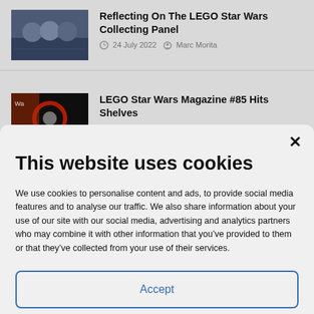Reflecting On The LEGO Star Wars Collecting Panel
24 July 2022   Marc Morita
LEGO Star Wars Magazine #85 Hits Shelves
This website uses cookies
We use cookies to personalise content and ads, to provide social media features and to analyse our traffic. We also share information about your use of our site with our social media, advertising and analytics partners who may combine it with other information that you’ve provided to them or that they’ve collected from your use of their services.
Accept
Privacy Policy   Privacy Policy